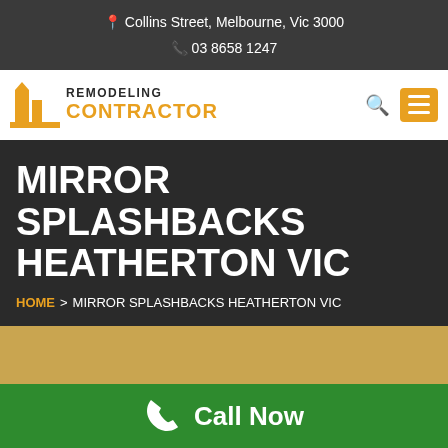📍 Collins Street, Melbourne, Vic 3000
📞 03 8658 1247
[Figure (logo): Remodeling Contractor logo with gold building icon and bold text]
MIRROR SPLASHBACKS HEATHERTON VIC
HOME > MIRROR SPLASHBACKS HEATHERTON VIC
[Figure (photo): Gold/tan colored background section with partial white card visible at bottom]
Call Now